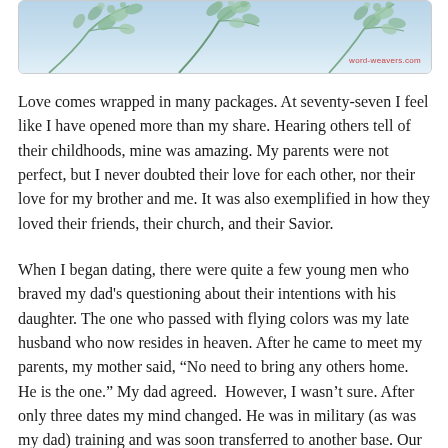[Figure (illustration): Decorative header image with eucalyptus branches and leaves on a light blue background, with 'word-weavers.com' watermark in red at the bottom right.]
Love comes wrapped in many packages. At seventy-seven I feel like I have opened more than my share. Hearing others tell of their childhoods, mine was amazing. My parents were not perfect, but I never doubted their love for each other, nor their love for my brother and me. It was also exemplified in how they loved their friends, their church, and their Savior.
When I began dating, there were quite a few young men who braved my dad's questioning about their intentions with his daughter. The one who passed with flying colors was my late husband who now resides in heaven. After he came to meet my parents, my mother said, “No need to bring any others home. He is the one.” My dad agreed.  However, I wasn’t sure. After only three dates my mind changed. He was in military (as was my dad) training and was soon transferred to another base. Our first date was to a school Valentine